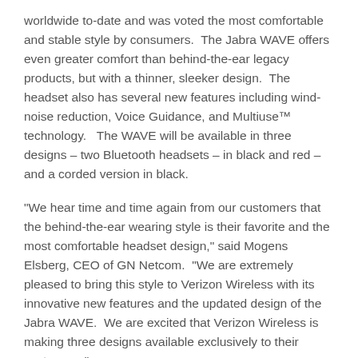worldwide to-date and was voted the most comfortable and stable style by consumers.  The Jabra WAVE offers even greater comfort than behind-the-ear legacy products, but with a thinner, sleeker design.  The headset also has several new features including wind-noise reduction, Voice Guidance, and Multiuse™ technology.   The WAVE will be available in three designs – two Bluetooth headsets – in black and red – and a corded version in black.
"We hear time and time again from our customers that the behind-the-ear wearing style is their favorite and the most comfortable headset design," said Mogens Elsberg, CEO of GN Netcom.  "We are extremely pleased to bring this style to Verizon Wireless with its innovative new features and the updated design of the Jabra WAVE.  We are excited that Verizon Wireless is making three designs available exclusively to their customers."
The comfortable and cutting-edge Jabra WAVE is the next generation in a line of award-winning wireless headsets. Significantly slimmer and easier to use than its predecessors